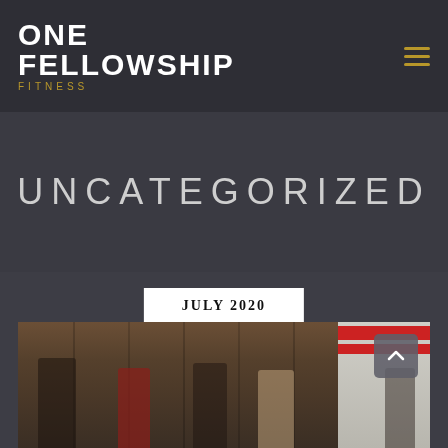ONE FELLOWSHIP FITNESS
UNCATEGORIZED
JULY 2020
[Figure (photo): A group of people in a fitness gym with wooden wall background, partially visible at the bottom of the page. A scroll-to-top arrow button is overlaid in the upper-right of the photo area.]